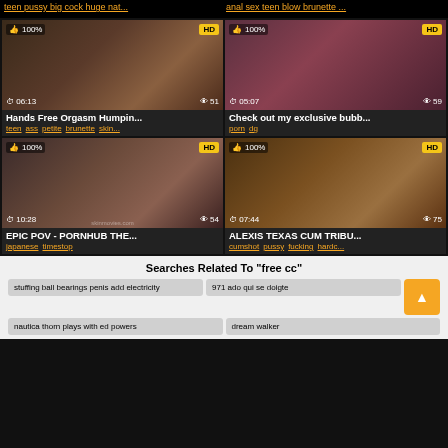teen pussy big cock huge nat... | anal sex teen blow brunette ...
[Figure (screenshot): Video thumbnail 1: Hands Free Orgasm Humpin... 06:13 duration, 51 views, 100% rating, HD]
[Figure (screenshot): Video thumbnail 2: Check out my exclusive bubb... 05:07 duration, 59 views, 100% rating, HD]
Hands Free Orgasm Humpin...
teen ass petite brunette skin...
Check out my exclusive bubb...
porn dg
[Figure (screenshot): Video thumbnail 3: EPIC POV - PORNHUB THE... 10:28 duration, 54 views, 100% rating, HD]
[Figure (screenshot): Video thumbnail 4: ALEXIS TEXAS CUM TRIBU... 07:44 duration, 75 views, 100% rating, HD]
EPIC POV - PORNHUB THE...
japanese timestop
ALEXIS TEXAS CUM TRIBU...
cumshot pussy fucking hardc...
Searches Related To "free cc"
stuffing ball bearings penis add electricity
971 ado qui se doigte
nautica thorn plays with ed powers
dream walker